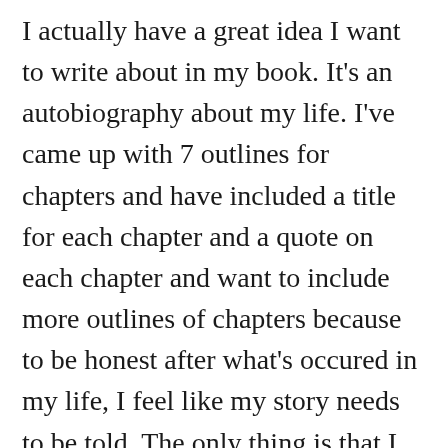I actually have a great idea I want to write about in my book. It's an autobiography about my life. I've came up with 7 outlines for chapters and have included a title for each chapter and a quote on each chapter and want to include more outlines of chapters because to be honest after what's occured in my life, I feel like my story needs to be told. The only thing is that I can't seem to find my old journal I use to write in from 2009-2012 and I feel that would be a big help and my question is, even though I don't have my old journal to guide me through with my writing, I still have old poems, new poems, documents, a title for the book and even a cover, I still feel my old journal would be a big help. This article including other ones have been a big help because I stopped writing 2 weeks ago but even if I don't find my journal, I'll try my best to continue writing and try to remember all the important events